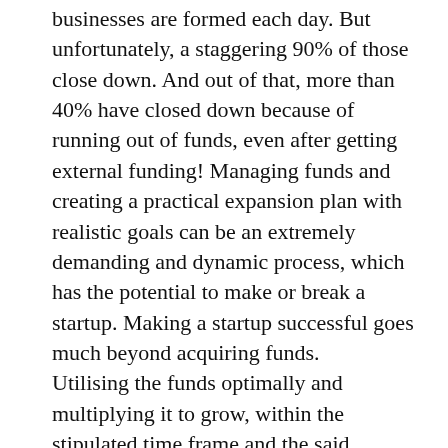businesses are formed each day. But unfortunately, a staggering 90% of those close down. And out of that, more than 40% have closed down because of running out of funds, even after getting external funding! Managing funds and creating a practical expansion plan with realistic goals can be an extremely demanding and dynamic process, which has the potential to make or break a startup. Making a startup successful goes much beyond acquiring funds.
Utilising the funds optimally and multiplying it to grow, within the stipulated time frame and the said direction is what leads to success. Companies that fail, do so